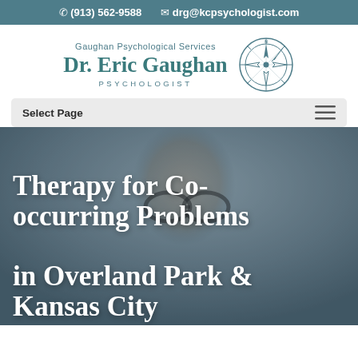(913) 562-9588   drg@kcpsychologist.com
[Figure (logo): Gaughan Psychological Services logo with compass rose and text 'Dr. Eric Gaughan PSYCHOLOGIST']
Select Page
[Figure (photo): Portrait photo of a middle-aged man with glasses and beard, used as hero background image]
Therapy for Co-occurring Problems in Overland Park & Kansas City